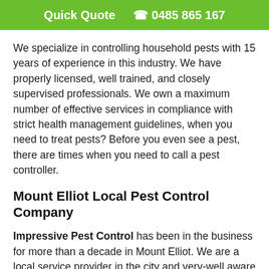Quick Quote  ✆ 0485 865 167
We specialize in controlling household pests with 15 years of experience in this industry. We have properly licensed, well trained, and closely supervised professionals. We own a maximum number of effective services in compliance with strict health management guidelines, when you need to treat pests? Before you even see a pest, there are times when you need to call a pest controller.
Mount Elliot Local Pest Control Company
Impressive Pest Control has been in the business for more than a decade in Mount Elliot. We are a local service provider in the city and very-well aware of the customers’ needs. Thus, we can serve on the same day of the booking as well. All the professionals of our team are affordable and fully licensed. Whether you want the services for